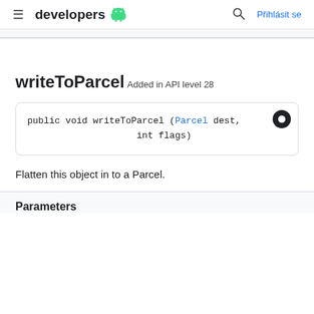developers  Přihlásit se
writeToParcel
Added in API level 28
[Figure (screenshot): Code block showing: public void writeToParcel (Parcel dest,
                        int flags)]
Flatten this object in to a Parcel.
Parameters